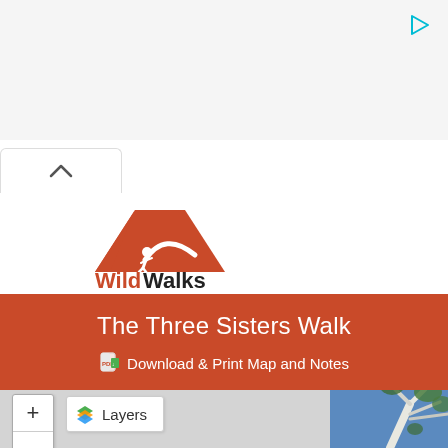[Figure (screenshot): Top browser/app bar area with light grey background and a cyan play/forward icon in top right corner]
[Figure (logo): WildWalks logo — orange mountain with hiker silhouette and trail path, text 'WildWalks' in bold with 'Wild' in orange and 'Walks' in dark grey/black]
The Three Sisters Walk
Download & Print Map and Notes
[Figure (screenshot): Map interface with grey background, zoom + and - buttons on left, Layers button with colorful layers icon, and a partial photo of gum tree branches against blue sky on the right edge]